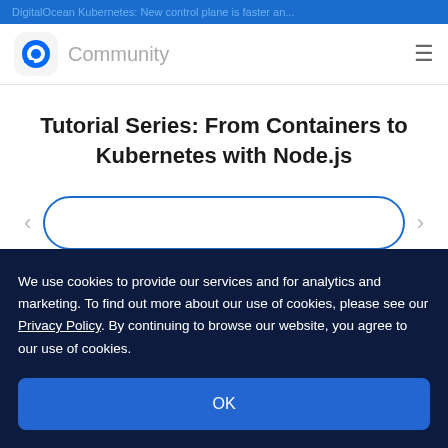DigitalOcean Kubernetes: New control plane is faster an...
[Figure (logo): DigitalOcean Community logo with circular icon and 'Community' text, plus hamburger menu icon]
Tutorial Series: From Containers to Kubernetes with Node.js
[Figure (other): Carousel navigation with left arrow, content box with rounded border, and right arrow]
We use cookies to provide our services and for analytics and marketing. To find out more about our use of cookies, please see our Privacy Policy. By continuing to browse our website, you agree to our use of cookies.
OK